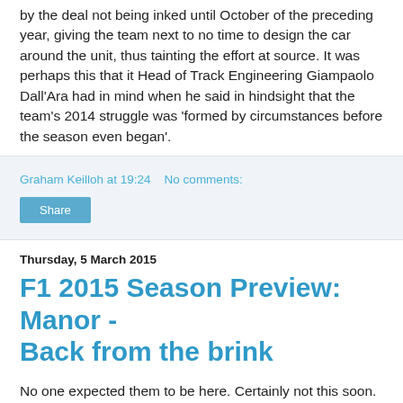by the deal not being inked until October of the preceding year, giving the team next to no time to design the car around the unit, thus tainting the effort at source. It was perhaps this that it Head of Track Engineering Giampaolo Dall'Ara had in mind when he said in hindsight that the team's 2014 struggle was 'formed by circumstances before the season even began'.
Graham Keilloh at 19:24   No comments:
Share
Thursday, 5 March 2015
F1 2015 Season Preview: Manor - Back from the brink
No one expected them to be here. Certainly not this soon. But by the looks of things, they are.
In the course of last year
[Figure (other): Red/orange rectangular image placeholder]